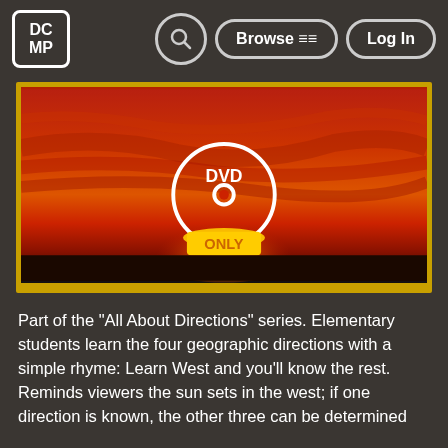[Figure (logo): DCMP logo — white text in rounded rectangle border]
[Figure (screenshot): Video thumbnail showing a red/orange sunset sky with a DVD-only overlay icon in the center. The DVD disc icon has 'DVD' text above and 'ONLY' text below, with a yellow glow at the bottom. The thumbnail has a golden/yellow border.]
Part of the "All About Directions" series. Elementary students learn the four geographic directions with a simple rhyme: Learn West and you'll know the rest. Reminds viewers the sun sets in the west; if one direction is known, the other three can be determined